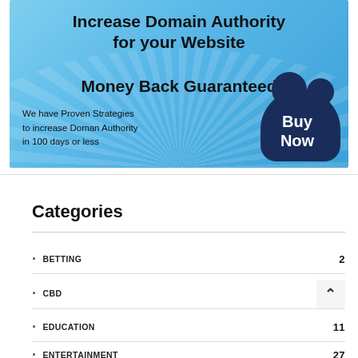[Figure (infographic): Advertisement banner for a domain authority service. Light blue background with radial rays. Text: 'Increase Domain Authority for your Website Money Back Guaranteed'. Body text: 'We have Proven Strategies to increase Doman Authority in 100 days or less'. Dark navy cloud bubble with 'Buy Now' text.]
Categories
BETTING 2
CBD
EDUCATION 11
ENTERTAINMENT 27